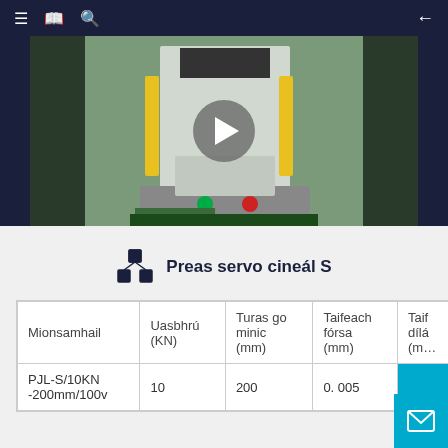Navigation bar with menu, book, search icons and back arrow
[Figure (photo): Industrial servo press machine in a factory/lab setting. A video thumbnail with a play button overlay. The machine is white with yellow safety guards and a control panel with buttons.]
Preas servo cineál S
| Mionsamhail | Uasbhrú (KN) | Turas go minic (mm) | Taifeach fórsa (mm) | Taifeach díláithrithe (mm) |
| --- | --- | --- | --- | --- |
| PJL-S/10KN -200mm/100v | 10 | 200 | 0. 005 |  |